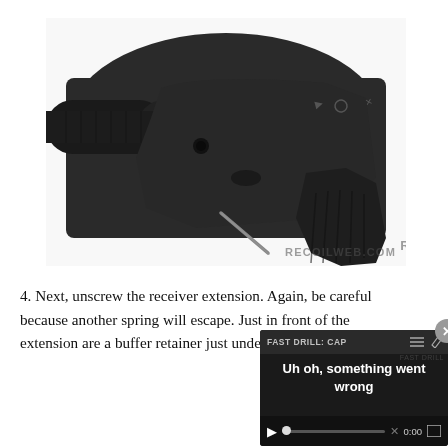[Figure (photo): Close-up photo of a black AR-style firearm lower receiver showing the buffer tube area and pistol grip, with a small detached roll pin lying below it. Watermark reads RECOILWEB.COM.]
4. Next, unscrew the receiver extension. Again, be careful because another spring will escape. Just in front of the extension are a buffer retainer just underneath it. The rec
[Figure (screenshot): Video player overlay showing error message 'FAST DRILL: CAP— Uh oh, something went wrong' with playback controls showing 0:00 and a close (x) button.]